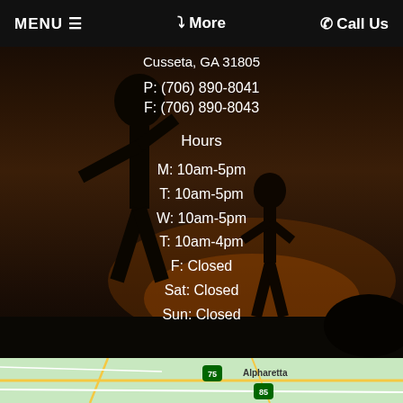MENU ☰   ❯ More   ☎ Call Us
Cusseta, GA 31805
P: (706) 890-8041
F: (706) 890-8043
Hours
M: 10am-5pm
T: 10am-5pm
W: 10am-5pm
T: 10am-4pm
F: Closed
Sat: Closed
Sun: Closed
[Figure (map): Street map showing area around Alpharetta, with highway 75 and 85 visible]